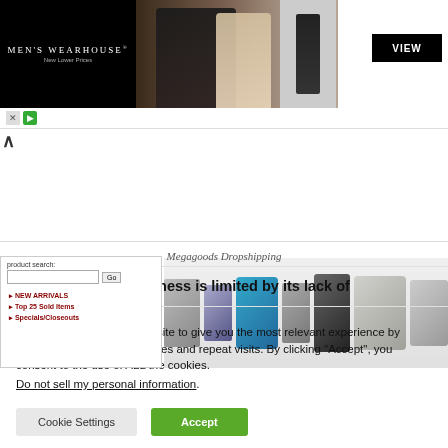[Figure (screenshot): Men's Wearhouse advertisement banner with couple in formalwear, single suited male figure, and VIEW button]
[Figure (screenshot): Megagoods Dropshipping website interface showing product search, navigation links (NEW ARRIVALS, Top 25 Sold Items, Specials/Closeouts), and consumer electronics product strip]
Megagoods Dropshipping
The platform’s usefulness is limited by its lack of
We use cookies on our website to give you the most relevant experience by remembering your preferences and repeat visits. By clicking “Accept”, you consent to the use of ALL the cookies.
Do not sell my personal information.
Cookie Settings | Accept